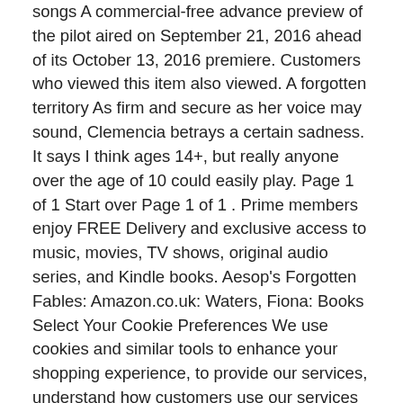songs A commercial-free advance preview of the pilot aired on September 21, 2016 ahead of its October 13, 2016 premiere. Customers who viewed this item also viewed. A forgotten territory As firm and secure as her voice may sound, Clemencia betrays a certain sadness. It says I think ages 14+, but really anyone over the age of 10 could easily play. Page 1 of 1 Start over Page 1 of 1 . Prime members enjoy FREE Delivery and exclusive access to music, movies, TV shows, original audio series, and Kindle books. Aesop's Forgotten Fables: Amazon.co.uk: Waters, Fiona: Books Select Your Cookie Preferences We use cookies and similar tools to enhance your shopping experience, to provide our services, understand how customers use our services so we can make improvements, and display ads. Vea reseñas y calificaciones de reseñas que otros clientes han escrito de Plaid Hat Games Forgotten Waters: Un Juego de encrucijadas en Amazon.com. Right, but that doesn't mean we're necessarily good at reaching our hydration goals. Unable to add item to List. The game itself has the novel aspect of being akin to a "choose